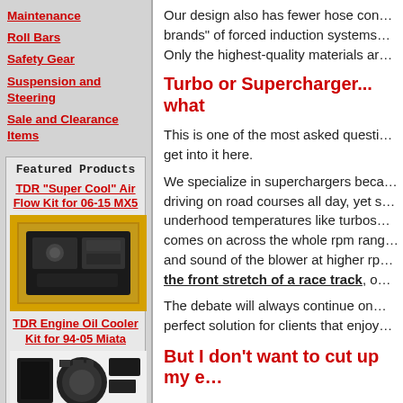Maintenance
Roll Bars
Safety Gear
Suspension and Steering
Sale and Clearance Items
Featured Products
TDR "Super Cool" Air Flow Kit for 06-15 MX5
[Figure (photo): Engine bay photo of a yellow car showing air intake components]
TDR Engine Oil Cooler Kit for 94-05 Miata
[Figure (photo): Oil cooler kit components laid out on white background]
Our design also has fewer hose con... brands" of forced induction systems... Only the highest-quality materials ar...
Turbo or Supercharger... what
This is one of the most asked questi... get into it here.
We specialize in superchargers beca... driving on road courses all day, yet s... underhood temperatures like turbos... comes on across the whole rpm rang... and sound of the blower at higher rp... the front stretch of a race track, o...
The debate will always continue on... perfect solution for clients that enjoy...
But I don't want to cut up my e...